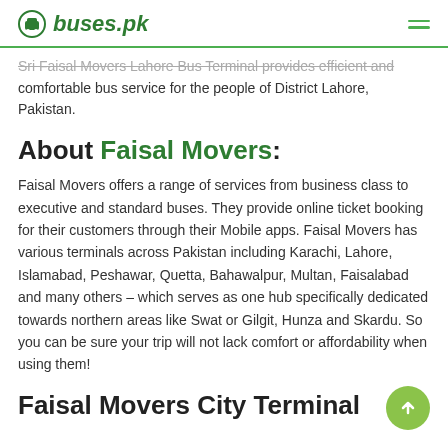buses.pk
Sri Faisal Movers Lahore Bus Terminal provides efficient and comfortable bus service for the people of District Lahore, Pakistan.
About Faisal Movers:
Faisal Movers offers a range of services from business class to executive and standard buses. They provide online ticket booking for their customers through their Mobile apps. Faisal Movers has various terminals across Pakistan including Karachi, Lahore, Islamabad, Peshawar, Quetta, Bahawalpur, Multan, Faisalabad and many others – which serves as one hub specifically dedicated towards northern areas like Swat or Gilgit, Hunza and Skardu. So you can be sure your trip will not lack comfort or affordability when using them!
Faisal Movers City Terminal